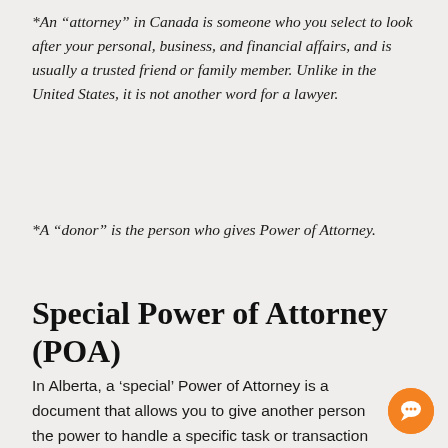*An “attorney” in Canada is someone who you select to look after your personal, business, and financial affairs, and is usually a trusted friend or family member. Unlike in the United States, it is not another word for a lawyer.
*A “donor” is the person who gives Power of Attorney.
Special Power of Attorney (POA)
In Alberta, a ‘special’ Power of Attorney is a document that allows you to give another person the power to handle a specific task or transaction on your behalf or in your absence,